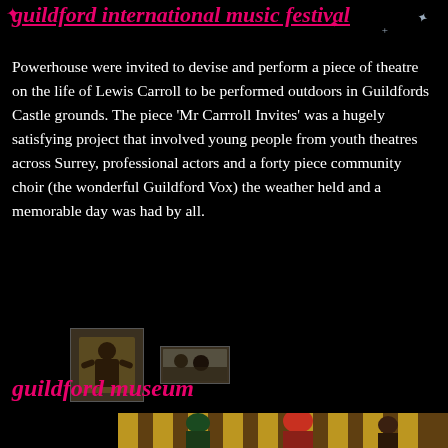guildford international music festival
Powerhouse were invited to devise and perform a piece of theatre on the life of Lewis Carroll to be performed outdoors in Guildfords Castle grounds. The piece ‘Mr Carrroll Invites’ was a hugely satisfying project that involved young people from youth theatres across Surrey, professional actors and a forty piece community choir (the wonderful Guildford Vox) the weather held and a memorable day was had by all.
[Figure (photo): Small thumbnail photo of a performer in costume outdoors]
[Figure (photo): Small thumbnail photo, landscape orientation, showing performers]
guildford museum
[Figure (photo): Photo of performers in colourful jester/clown costumes with elaborate headpieces, in front of striped curtains/drapes]